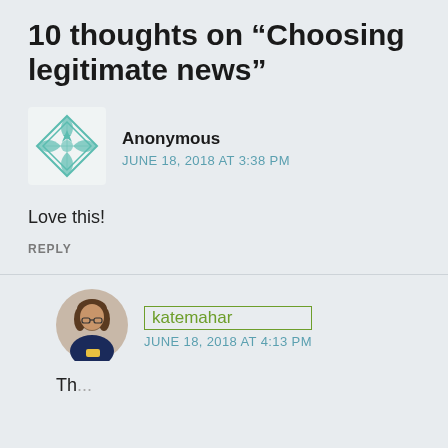10 thoughts on “Choosing legitimate news”
[Figure (illustration): Teal geometric/quilt pattern avatar icon for Anonymous commenter]
Anonymous
JUNE 18, 2018 AT 3:38 PM
Love this!
REPLY
[Figure (photo): Round profile photo of katemahar, a person with brown hair wearing glasses]
katemahar
JUNE 18, 2018 AT 4:13 PM
Th...